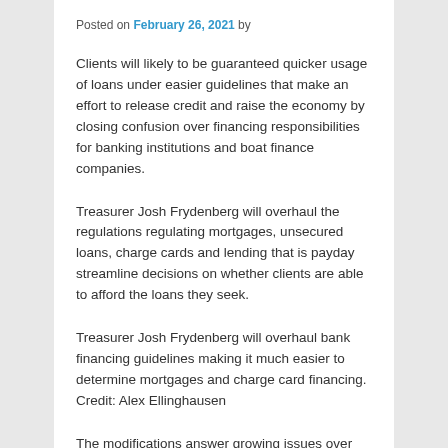Posted on February 26, 2021 by
Clients will likely to be guaranteed quicker usage of loans under easier guidelines that make an effort to release credit and raise the economy by closing confusion over financing responsibilities for banking institutions and boat finance companies.
Treasurer Josh Frydenberg will overhaul the regulations regulating mortgages, unsecured loans, charge cards and lending that is payday streamline decisions on whether clients are able to afford the loans they seek.
Treasurer Josh Frydenberg will overhaul bank financing guidelines making it much easier to determine mortgages and charge card financing. Credit: Alex Ellinghausen
The modifications answer growing issues over court disputes plus the replication of regulators in house and private financing, sparking fears that restrictive guidelines